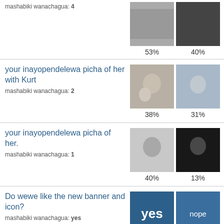mashabiki wanachagua: 4
53%  40%
your inayopendelewa picha of her with Kurt
mashabiki wanachagua: 2
38%  31%
your inayopendelewa picha of her.
mashabiki wanachagua: 1
40%  13%
Do wewe like the new banner and icon?
mashabiki wanachagua: yes
85%  15%
Is she pretty? what do wewe think
mashabiki wanachagua: she is very pretty!
100%  0%